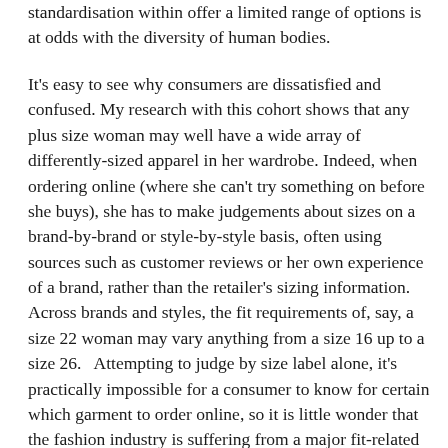standardisation within offer a limited range of options is at odds with the diversity of human bodies.
It's easy to see why consumers are dissatisfied and confused. My research with this cohort shows that any plus size woman may well have a wide array of differently-sized apparel in her wardrobe. Indeed, when ordering online (where she can't try something on before she buys), she has to make judgements about sizes on a brand-by-brand or style-by-style basis, often using sources such as customer reviews or her own experience of a brand, rather than the retailer's sizing information. Across brands and styles, the fit requirements of, say, a size 22 woman may vary anything from a size 16 up to a size 26.   Attempting to judge by size label alone, it's practically impossible for a consumer to know for certain which garment to order online, so it is little wonder that the fashion industry is suffering from a major fit-related returns